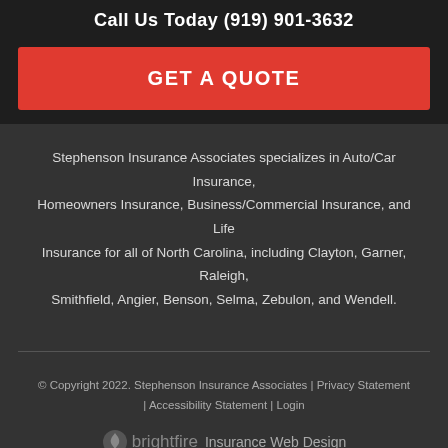Call Us Today (919) 901-3632
GET A QUOTE
Stephenson Insurance Associates specializes in Auto/Car Insurance, Homeowners Insurance, Business/Commercial Insurance, and Life Insurance for all of North Carolina, including Clayton, Garner, Raleigh, Smithfield, Angier, Benson, Selma, Zebulon, and Wendell.
© Copyright 2022. Stephenson Insurance Associates | Privacy Statement | Accessibility Statement | Login
[Figure (logo): BrightFire logo with text 'brightfire Insurance Web Design']